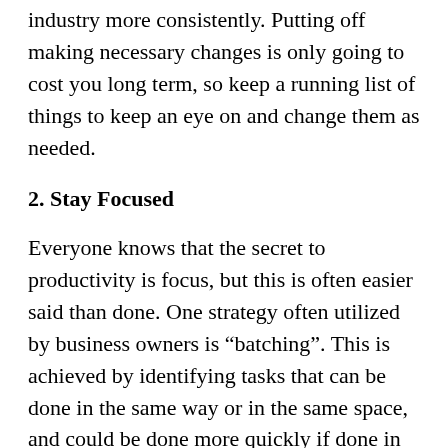industry more consistently. Putting off making necessary changes is only going to cost you long term, so keep a running list of things to keep an eye on and change them as needed.
2. Stay Focused
Everyone knows that the secret to productivity is focus, but this is often easier said than done. One strategy often utilized by business owners is “batching”. This is achieved by identifying tasks that can be done in the same way or in the same space, and could be done more quickly if done in the same time slot. If you have more work to